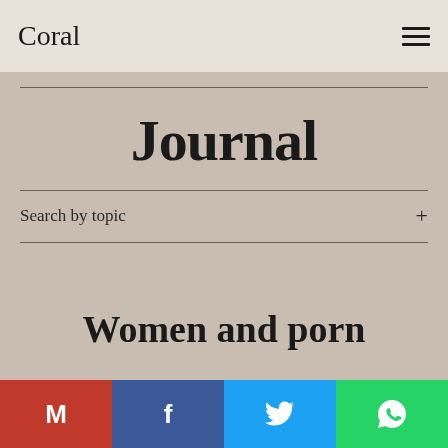Coral
Journal
Search by topic +
Women and porn
M  f  Twitter  WhatsApp share buttons